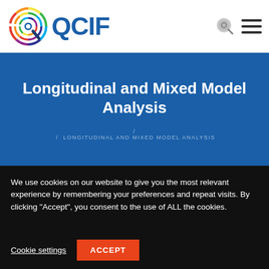[Figure (logo): QCIF logo with multicolored concentric circular arcs forming a Q shape, followed by 'QCIF' in dark blue bold text]
Longitudinal and Mixed Model Analysis
/ LONGITUDINAL AND MIXED MODEL ANALYSIS
We use cookies on our website to give you the most relevant experience by remembering your preferences and repeat visits. By clicking “Accept”, you consent to the use of ALL the cookies.
Cookie settings   ACCEPT